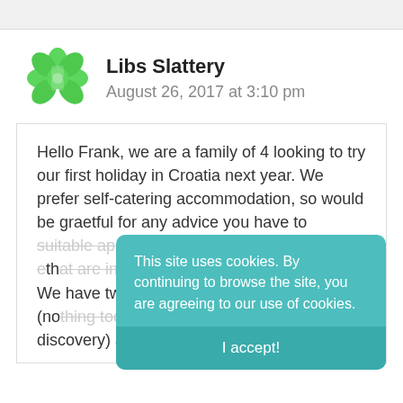[Figure (logo): Green decorative hexagonal/floral logo icon for user Libs Slattery]
Libs Slattery
August 26, 2017 at 3:10 pm
Hello Frank, we are a family of 4 looking to try our first holiday in Croatia next year. We prefer self-catering accommodation, so would be graetful for any advice you have to suitable apartments (with pool if possible) e... Lapad.
We have two teenagers who live to snorkel (nothing too serious, more pleasure than discovery) and we like to
This site uses cookies. By continuing to browse the site, you are agreeing to our use of cookies.
I accept!